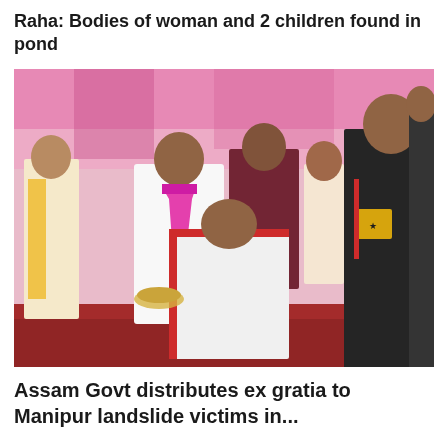Raha: Bodies of woman and 2 children found in pond
[Figure (photo): A group of people at an outdoor event under a pink tent. A man in white kurta with a bright pink/magenta scarf is leaning forward. Others around him include people in traditional Indian attire. A person in a black security uniform with a yellow badge is visible on the right side.]
Assam Govt distributes ex gratia to Manipur landslide victims in...
Similar Posts